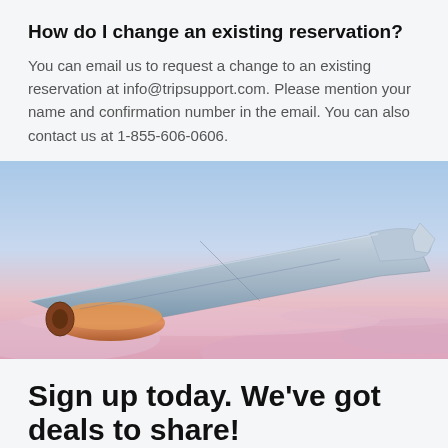How do I change an existing reservation?
You can email us to request a change to an existing reservation at info@tripsupport.com. Please mention your name and confirmation number in the email. You can also contact us at 1-855-606-0606.
[Figure (photo): Photograph of an airplane wing viewed from a window seat, with a pink and blue sky and clouds visible below.]
Sign up today. We've got deals to share!